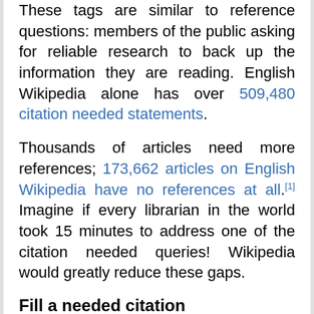These tags are similar to reference questions: members of the public asking for reliable research to back up the information they are reading. English Wikipedia alone has over 509,480 citation needed statements.
Thousands of articles need more references; 173,662 articles on English Wikipedia have no references at all.[1] Imagine if every librarian in the world took 15 minutes to address one of the citation needed queries! Wikipedia would greatly reduce these gaps.
Fill a needed citation